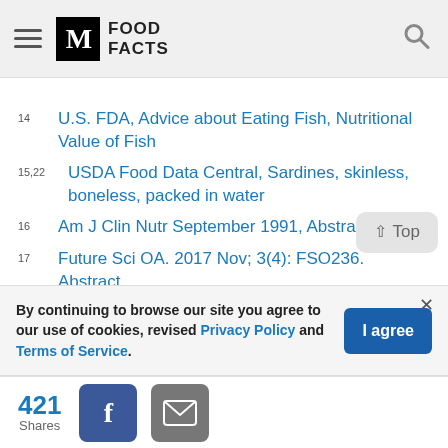M FOOD FACTS
14  U.S. FDA, Advice about Eating Fish, Nutritional Value of Fish
15,22  USDA Food Data Central, Sardines, skinless, boneless, packed in water
16  Am J Clin Nutr September 1991, Abstract
17  Future Sci OA. 2017 Nov; 3(4): FSO236. Abstract
18  J Res Pharm Pract. 2015 Jul-Sep; 4(3): 135–141.
By continuing to browse our site you agree to our use of cookies, revised Privacy Policy and Terms of Service.
421 Shares